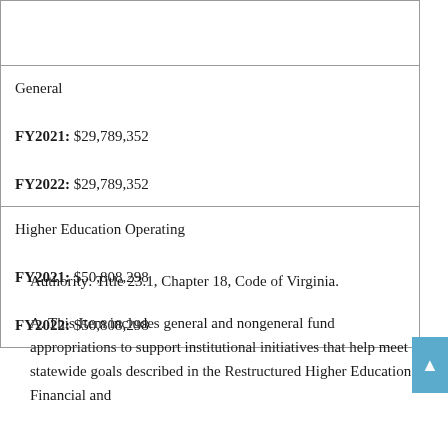|  |
| General

FY2021: $29,789,352

FY2022: $29,789,352 |
| Higher Education Operating

FY2021: $50,808,298

FY2022: $50,808,298 |
Authority: Title 23.1, Chapter 18, Code of Virginia.
A. This Item includes general and nongeneral fund appropriations to support institutional initiatives that help meet statewide goals described in the Restructured Higher Education Financial and